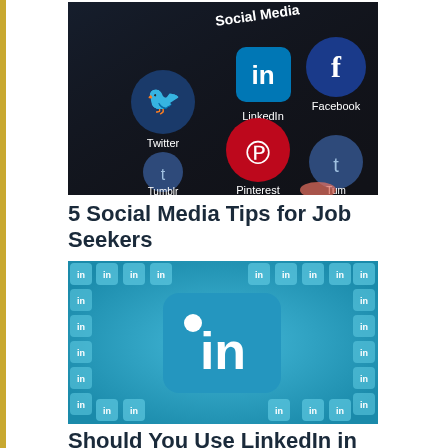[Figure (photo): A smartphone screen showing social media app icons including Twitter, LinkedIn, Facebook, Tumblr, Pinterest, and Tumblr on a dark background]
5 Social Media Tips for Job Seekers
[Figure (photo): A pile of teal/blue LinkedIn logo tiles with a large LinkedIn 'in' square icon in the center]
Should You Use LinkedIn in Your